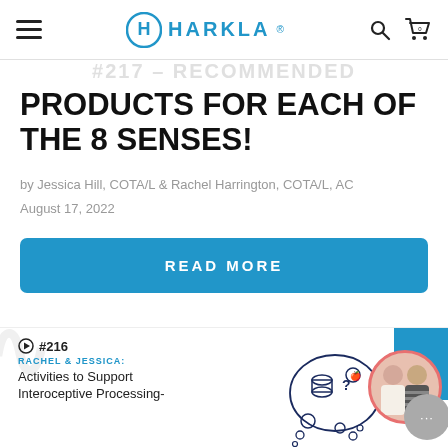HARKLA
#217 - RECOMMENDED PRODUCTS FOR EACH OF THE 8 SENSES!
PRODUCTS FOR EACH OF THE 8 SENSES!
by Jessica Hill, COTA/L & Rachel Harrington, COTA/L, AC
August 17, 2022
READ MORE
[Figure (screenshot): Bottom card showing episode #216, Rachel & Jessica: Activities to Support Interoceptive Processing-, with illustration and photo of two women, blue rectangle, and chat bubble]
#216
RACHEL & JESSICA:
Activities to Support Interoceptive Processing-